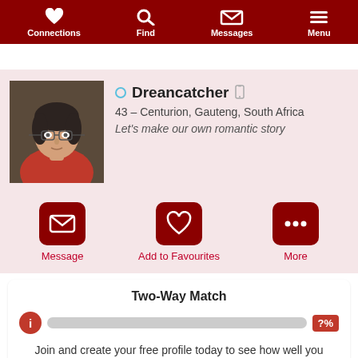Connections | Find | Messages | Menu
[Figure (photo): Profile photo of a man wearing glasses and a red shirt, sitting outdoors]
Dreancatcher
43 – Centurion, Gauteng, South Africa
Let's make our own romantic story
Message | Add to Favourites | More
Two-Way Match
?%
Join and create your free profile today to see how well you match with him, and hundreds more.
Join now
Online: More than 6 months ago